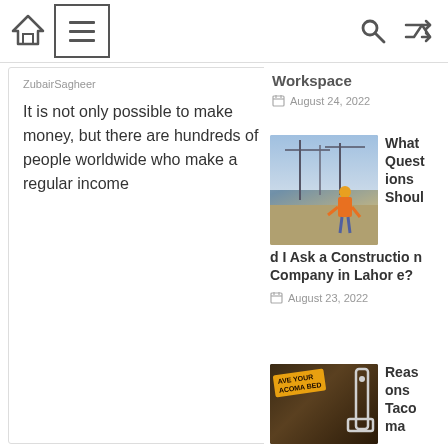Home | Menu | Search | Shuffle
ZubairSagheer
It is not only possible to make money, but there are hundreds of people worldwide who make a regular income
Workspace
August 24, 2022
[Figure (photo): Construction worker in yellow hard hat and safety vest standing at a construction site with cranes in background]
What Questions Should I Ask a Construction Company in Lahore?
August 23, 2022
[Figure (photo): Truck bed with sticker text: SAVE YOUR TACOMA BED, showing truck bed stiffener hardware]
Reasons Tacoma Truck Bed Stiffeners